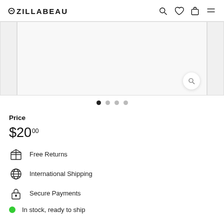OZILLABEAU
[Figure (screenshot): Product image carousel with zoom button and navigation dots]
Price
$20.00
Free Returns
International Shipping
Secure Payments
In stock, ready to ship